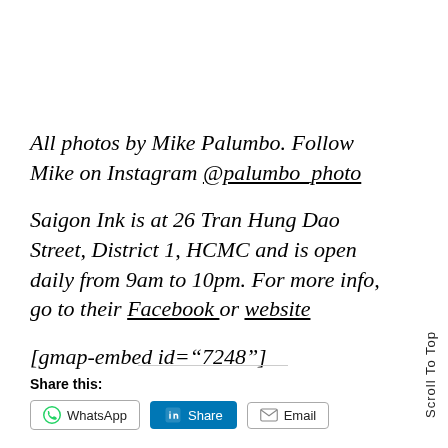All photos by Mike Palumbo. Follow Mike on Instagram @palumbo_photo
Saigon Ink is at 26 Tran Hung Dao Street, District 1, HCMC and is open daily from 9am to 10pm. For more info, go to their Facebook or website
[gmap-embed id="7248"]
Share this:
WhatsApp  Share  Email